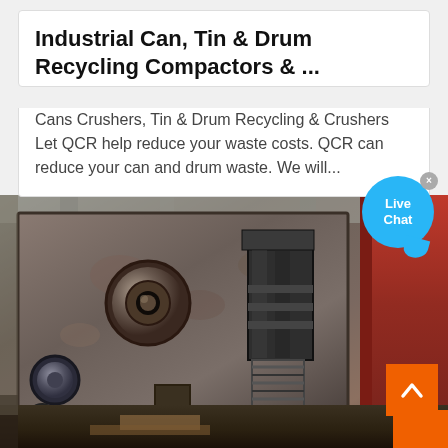Industrial Can, Tin & Drum Recycling Compactors & ...
Cans Crushers, Tin & Drum Recycling & Crushers Let QCR help reduce your waste costs. QCR can reduce your can and drum waste. We will...
[Figure (photo): Close-up photo of industrial recycling/crushing machinery — a large rusted metal plate with bolt and mechanical components including a spring coil, against a workshop background with red structural elements]